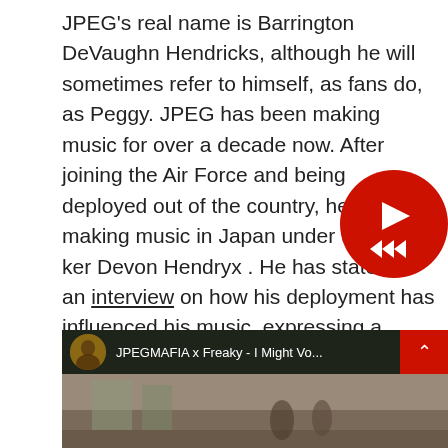JPEG's real name is Barrington DeVaughn Hendricks, although he will sometimes refer to himself, as fans do, as Peggy. JPEG has been making music for over a decade now. After joining the Air Force and being deployed out of the country, he started making music in Japan under the moniker Devon Hendryx . He has stated in an interview on how his deployment has influenced his music, expressing a traumatic series of incidences where he was constantly forced into fetal position from explosives. Fast forward a few years and he resided in Baltimore, undertaking the name JPEGMAFIA.
[Figure (screenshot): YouTube video thumbnail showing JPEGMAFIA x Freaky - I Might Vo... with avatar icon, video title bar, and dots menu. Red corner with up chevron visible.]